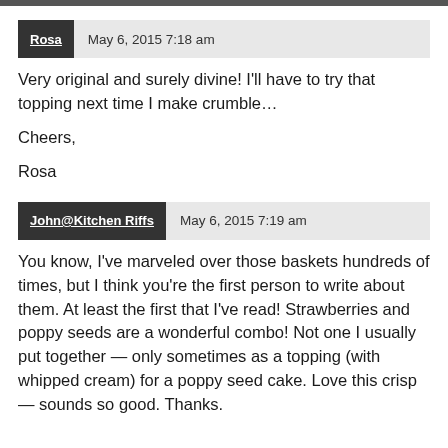Rosa   May 6, 2015 7:18 am
Very original and surely divine! I'll have to try that topping next time I make crumble…

Cheers,

Rosa
John@Kitchen Riffs   May 6, 2015 7:19 am
You know, I've marveled over those baskets hundreds of times, but I think you're the first person to write about them. At least the first that I've read! Strawberries and poppy seeds are a wonderful combo! Not one I usually put together — only sometimes as a topping (with whipped cream) for a poppy seed cake. Love this crisp — sounds so good. Thanks.